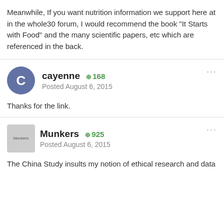Meanwhile, If you want nutrition information we support here at in the whole30 forum, I would recommend the book "It Starts with Food" and the many scientific papers, etc which are referenced in the back.
cayenne  +168  Posted August 6, 2015
Thanks for the link.
Munkers  +925  Posted August 6, 2015
The China Study insults my notion of ethical research and data